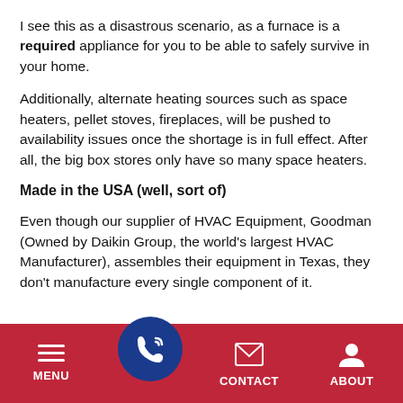I see this as a disastrous scenario, as a furnace is a required appliance for you to be able to safely survive in your home.
Additionally, alternate heating sources such as space heaters, pellet stoves, fireplaces, will be pushed to availability issues once the shortage is in full effect. After all, the big box stores only have so many space heaters.
Made in the USA (well, sort of)
Even though our supplier of HVAC Equipment, Goodman (Owned by Daikin Group, the world's largest HVAC Manufacturer), assembles their equipment in Texas, they don't manufacture every single component of it.
MENU   [CALL]   CONTACT   ABOUT